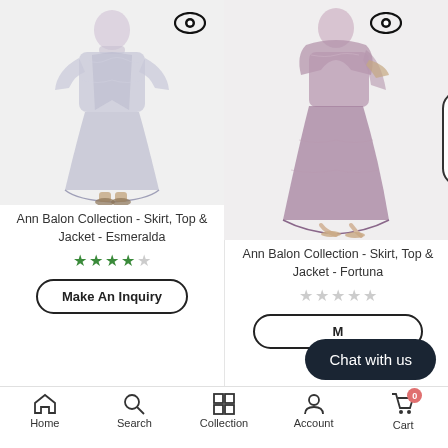[Figure (photo): Silver/grey lace outfit (skirt, top and jacket) worn by a plus-size model, Ann Balon Collection Esmeralda]
[Figure (photo): Purple/mauve lace outfit (skirt, top and jacket) worn by a plus-size model, Ann Balon Collection Fortuna]
Ann Balon Collection - Skirt, Top & Jacket - Esmeralda
★★★★☆ (4 out of 5 stars)
Make An Inquiry
Ann Balon Collection - Skirt, Top & Jacket - Fortuna
☆☆☆☆☆ (0 stars)
Make An Inquiry (partial)
Chat with us
Home   Search   Collection   Account   Cart